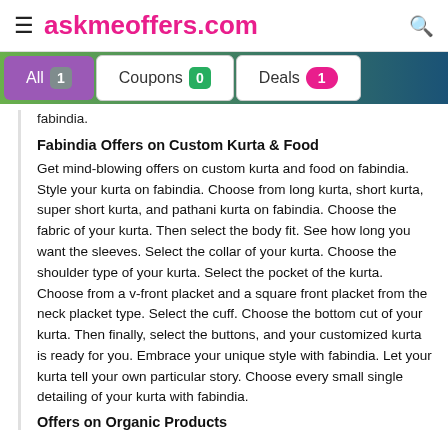≡ askmeoffers.com
[Figure (screenshot): Tab bar with All (1), Coupons (0), Deals (1) tabs]
fabindia.
Fabindia Offers on Custom Kurta & Food
Get mind-blowing offers on custom kurta and food on fabindia. Style your kurta on fabindia. Choose from long kurta, short kurta, super short kurta, and pathani kurta on fabindia. Choose the fabric of your kurta. Then select the body fit. See how long you want the sleeves. Select the collar of your kurta. Choose the shoulder type of your kurta. Select the pocket of the kurta. Choose from a v-front placket and a square front placket from the neck placket type. Select the cuff. Choose the bottom cut of your kurta. Then finally, select the buttons, and your customized kurta is ready for you. Embrace your unique style with fabindia. Let your kurta tell your own particular story. Choose every small single detailing of your kurta with fabindia.
Offers on Organic Products